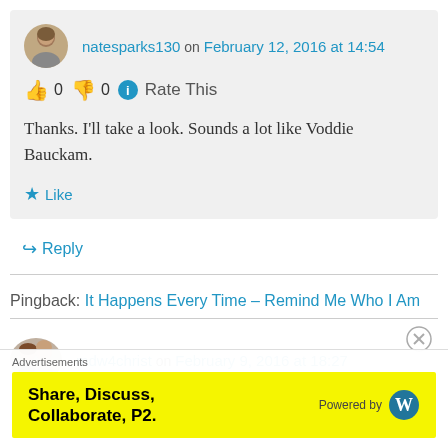natesparks130 on February 12, 2016 at 14:54
👍 0 👎 0 ℹ Rate This
Thanks. I'll take a look. Sounds a lot like Voddie Bauckam.
★ Like
↪ Reply
Pingback: It Happens Every Time – Remind Me Who I Am
mdw4christ on February 9, 2016 at 18:27
Advertisements Share, Discuss, Collaborate, P2. Powered by WordPress